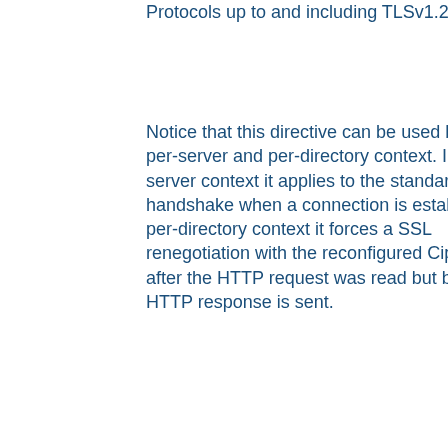Protocols up to and including TLSv1.2.
Notice that this directive can be used both in per-server and per-directory context. In per-server context it applies to the standard SSL handshake when a connection is established. In per-directory context it forces a SSL renegotiation with the reconfigured Cipher Suite after the HTTP request was read but before the HTTP response is sent.
If the SSL library supports TLSv1.3 (OpenSSL 1.1.1 and later), the protocol specifier "TLSv1.3" can be used to configure the cipher suites for that